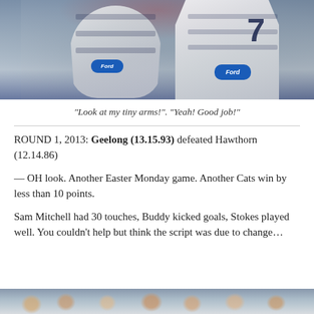[Figure (photo): Two Geelong AFL players in hooped navy and white jerseys celebrating during a match. The player on the right wears number 7. Both have Ford sponsor logos on their jerseys. Crowd visible in background.]
"Look at my tiny arms!". "Yeah! Good job!"
ROUND 1, 2013: Geelong (13.15.93) defeated Hawthorn (12.14.86)
— OH look. Another Easter Monday game. Another Cats win by less than 10 points.
Sam Mitchell had 30 touches, Buddy kicked goals, Stokes played well. You couldn't help but think the script was due to change…
[Figure (photo): Partial view of another AFL match photo at bottom of page, partially cropped.]